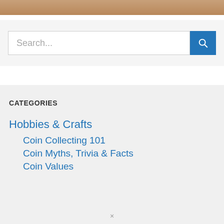[Figure (photo): Top portion of a photo showing hands or coins, in warm brown tones, cropped at the top of the page]
Search...
CATEGORIES
Hobbies & Crafts
Coin Collecting 101
Coin Myths, Trivia & Facts
Coin Values